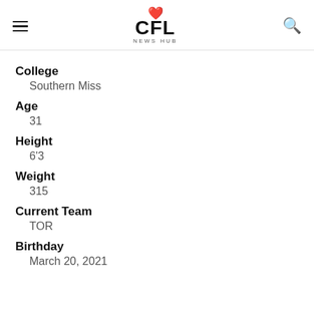CFL NEWS HUB
College
Southern Miss
Age
31
Height
6'3
Weight
315
Current Team
TOR
Birthday
March 20, 2021